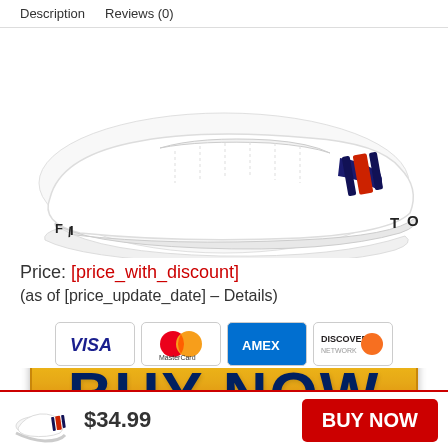Description   Reviews (0)
[Figure (photo): White Tommy Hilfiger sneaker/shoe shown from side angle, with navy and red stripe detail on side, Tommy text on sole, white leather upper]
Price: [price_with_discount]
(as of [price_update_date] – Details)
[Figure (other): Large yellow BUY NOW button with dark navy blue bold text]
[Figure (other): Payment method icons: VISA, MasterCard, AMEX, Discover]
[Figure (other): Sticky footer with small sneaker thumbnail, $34.99 price, and red BUY NOW button]